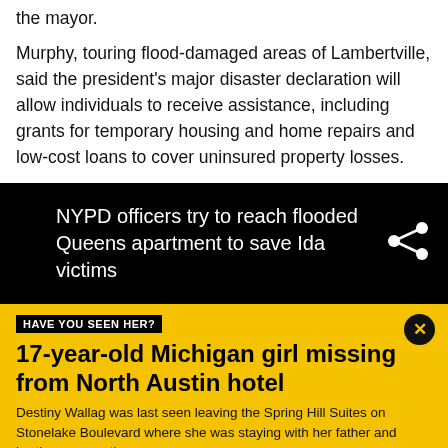the mayor.
Murphy, touring flood-damaged areas of Lambertville, said the president's major disaster declaration will allow individuals to receive assistance, including grants for temporary housing and home repairs and low-cost loans to cover uninsured property losses.
[Figure (other): Black banner with text: NYPD officers try to reach flooded Queens apartment to save Ida victims, with a share icon on the right]
HAVE YOU SEEN HER?
17-year-old Michigan girl missing from North Austin hotel
Destiny Wallag was last seen leaving the Spring Hill Suites on Stonelake Boulevard where she was staying with her father and brother on vacation.